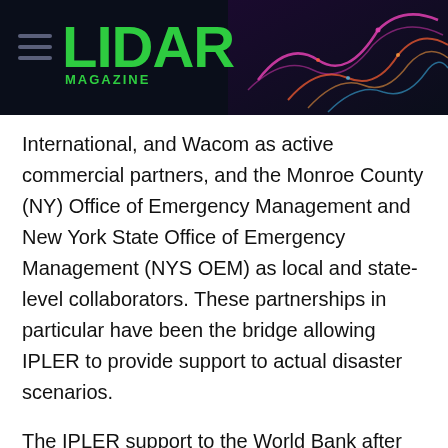[Figure (logo): LIDAR Magazine logo with hamburger menu icon on dark navy background with colorful wave graphic on the right]
International, and Wacom as active commercial partners, and the Monroe County (NY) Office of Emergency Management and New York State Office of Emergency Management (NYS OEM) as local and state-level collaborators. These partnerships in particular have been the bridge allowing IPLER to provide support to actual disaster scenarios.
The IPLER support to the World Bank after the Haiti earthquake disaster in 2010 deserves special mention. High spatial resolution imagery and the only publicly available lidar data were collected over 250 mi2 and rapidly disseminated worldwide